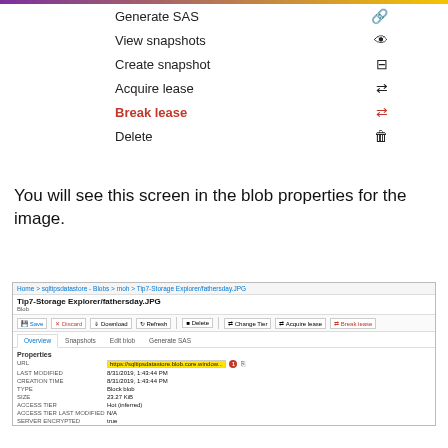[Figure (screenshot): Azure Storage Explorer context menu showing options: Generate SAS (link icon), View snapshots (eye icon), Create snapshot (copy icon), Acquire lease (arrows icon), Break lease in red (broken arrows icon), Delete (trash icon). Top has a purple-yellow gradient bar.]
You will see this screen in the blob properties for the image.
[Figure (screenshot): Azure Storage Explorer blob properties screen for Tip7-Storage Explorer/fathersday.JPG showing breadcrumb navigation, toolbar with Save, Discard, Download, Refresh, Delete, Change Tier, Acquire lease, Break lease buttons. Tabs: Overview (active), Snapshots, Edit blob, Generate SAS. Properties section shows URL (highlighted in yellow with red badge '1'), LAST MODIFIED: 8/31/2019, 1:43:44 PM, CREATION TIME: 8/31/2019, 1:43:44 PM, TYPE: Block blob, SIZE: 23.27 KiB, ACCESS TIER: Hot (inferred), ACCESS TIER LAST MODIFIED: N/A, SERVER ENCRYPTED: true]